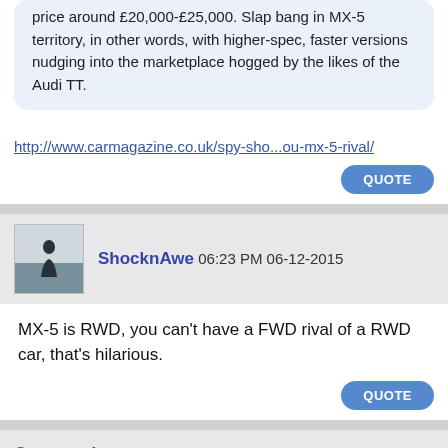price around £20,000-£25,000. Slap bang in MX-5 territory, in other words, with higher-spec, faster versions nudging into the marketplace hogged by the likes of the Audi TT.
http://www.carmagazine.co.uk/spy-sho...ou-mx-5-rival/
QUOTE
ShocknAwe 06:23 PM 06-12-2015
MX-5 is RWD, you can't have a FWD rival of a RWD car, that's hilarious.
QUOTE
Caravaggio 06:45 PM 06-12-2015
Think it's more to contrast the Miata rival. Not a rival...